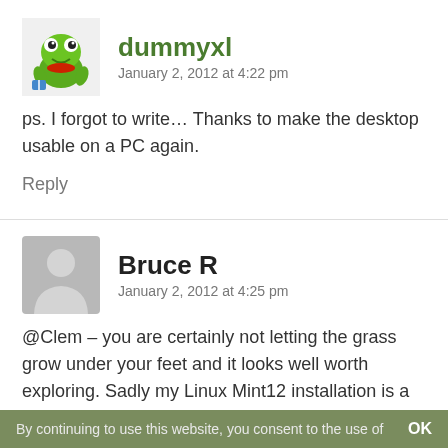[Figure (illustration): Green cartoon frog/crocodile avatar for user dummyxl]
dummyxl
January 2, 2012 at 4:22 pm
ps. I forgot to write… Thanks to make the desktop usable on a PC again.
Reply
[Figure (illustration): Generic gray silhouette person avatar for user Bruce R]
Bruce R
January 2, 2012 at 4:25 pm
@Clem – you are certainly not letting the grass grow under your feet and it looks well worth exploring. Sadly my Linux Mint12 installation is a persistent USBkey, prepared with Gloria and then created with Isadora, so although 'cinnamon-session' does install and seems to
By continuing to use this website, you consent to the use of    OK